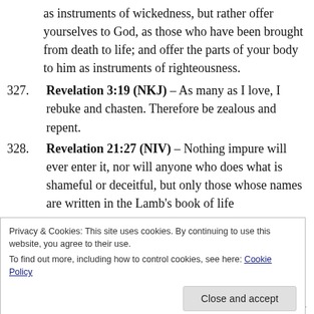as instruments of wickedness, but rather offer yourselves to God, as those who have been brought from death to life; and offer the parts of your body to him as instruments of righteousness.
327. Revelation 3:19 (NKJ) – As many as I love, I rebuke and chasten. Therefore be zealous and repent.
328. Revelation 21:27 (NIV) – Nothing impure will ever enter it, nor will anyone who does what is shameful or deceitful, but only those whose names are written in the Lamb's book of life
Privacy & Cookies: This site uses cookies. By continuing to use this website, you agree to their use. To find out more, including how to control cookies, see here: Cookie Policy
330. 2 Timothy 1:12 (NIV) – That is why I am suffering